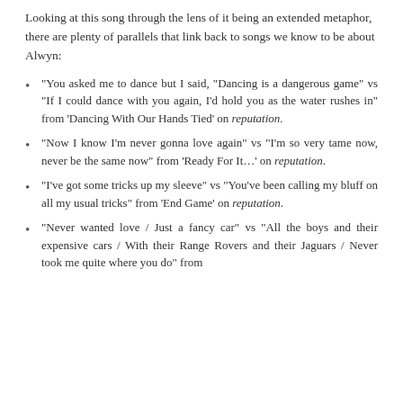Looking at this song through the lens of it being an extended metaphor, there are plenty of parallels that link back to songs we know to be about Alwyn:
"You asked me to dance but I said, "Dancing is a dangerous game" vs "If I could dance with you again, I'd hold you as the water rushes in" from 'Dancing With Our Hands Tied' on reputation.
"Now I know I'm never gonna love again" vs "I'm so very tame now, never be the same now" from 'Ready For It...' on reputation.
"I've got some tricks up my sleeve" vs "You've been calling my bluff on all my usual tricks" from 'End Game' on reputation.
"Never wanted love / Just a fancy car" vs "All the boys and their expensive cars / With their Range Rovers and their Jaguars / Never took me quite where you do" from